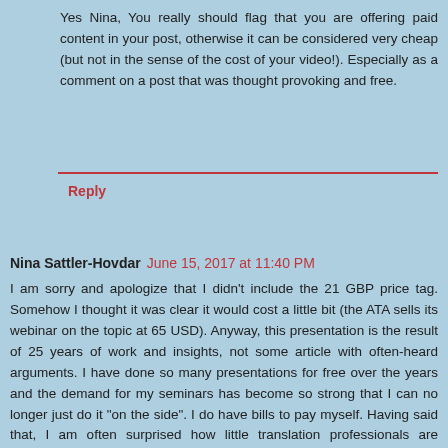Yes Nina, You really should flag that you are offering paid content in your post, otherwise it can be considered very cheap (but not in the sense of the cost of your video!). Especially as a comment on a post that was thought provoking and free.
Reply
Nina Sattler-Hovdar  June 15, 2017 at 11:40 PM
I am sorry and apologize that I didn't include the 21 GBP price tag. Somehow I thought it was clear it would cost a little bit (the ATA sells its webinar on the topic at 65 USD). Anyway, this presentation is the result of 25 years of work and insights, not some article with often-heard arguments. I have done so many presentations for free over the years and the demand for my seminars has become so strong that I can no longer just do it "on the side". I do have bills to pay myself. Having said that, I am often surprised how little translation professionals are prepared to invest to learn